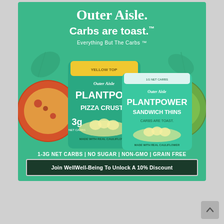[Figure (photo): Outer Aisle brand advertisement showing PlantPower Pizza Crusts and PlantPower Sandwich Thins packages on a green background, with food photography of pizza and sandwich, decorative leaf motifs, brand name 'Outer Aisle.', tagline 'Carbs are toast.™', subtitle 'Everything But The Carbs ™', product details '1-3G NET CARBS | NO SUGAR | NON-GMO | GRAIN FREE', and CTA button 'Join WellWell-Being To Unlock A 10% Discount']